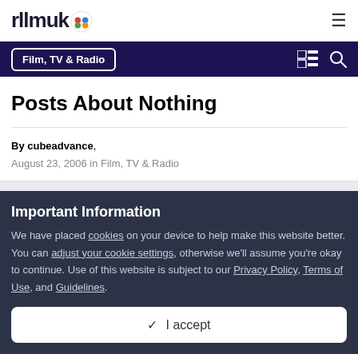rllmuk
Film, TV & Radio
Posts About Nothing
By cubeadvance,
August 23, 2006 in Film, TV & Radio
Important Information
We have placed cookies on your device to help make this website better. You can adjust your cookie settings, otherwise we'll assume you're okay to continue. Use of this website is subject to our Privacy Policy, Terms of Use, and Guidelines.
✓  I accept